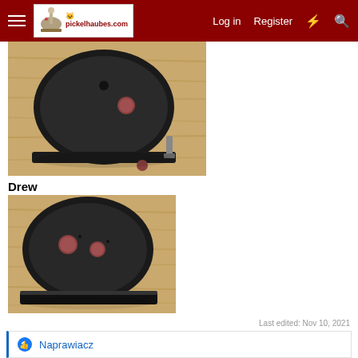pickelhaubes.com — Log in   Register
[Figure (photo): Black leather German pickelhaube helmet shell sitting on a wooden table, top view showing reddish cockade/badge on the side, with a spike component removed beside it]
Drew
[Figure (photo): Black leather German pickelhaube helmet shell, closer front view on wooden table, showing two reddish cockades/badges on the front]
Last edited: Nov 10, 2021
Naprawiacz
b.loree